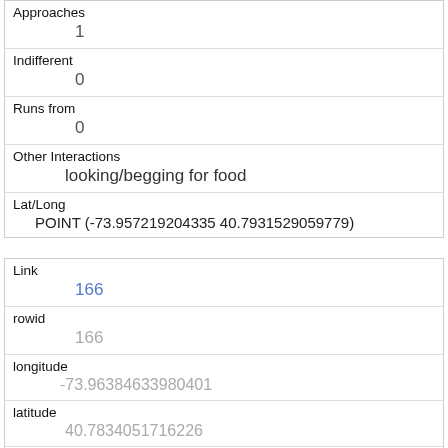| Approaches | 1 |
| Indifferent | 0 |
| Runs from | 0 |
| Other Interactions | looking/begging for food |
| Lat/Long | POINT (-73.957219204335 40.7931529059779) |
| Link | 166 |
| rowid | 166 |
| longitude | -73.96384633980401 |
| latitude | 40.7834051716226 |
| Unique Squirrel ID | 23F-AM-1018-01 |